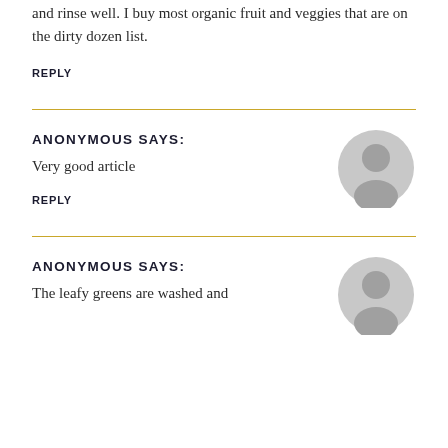and rinse well. I buy most organic fruit and veggies that are on the dirty dozen list.
REPLY
ANONYMOUS SAYS:
Very good article
REPLY
ANONYMOUS SAYS:
The leafy greens are washed and